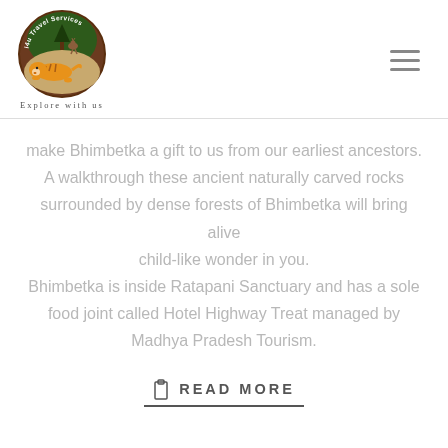[Figure (logo): i4u Travel Services circular logo with a tiger and deer, forest background, text 'Explore with us' below]
make Bhimbetka a gift to us from our earliest ancestors. A walkthrough these ancient naturally carved rocks surrounded by dense forests of Bhimbetka will bring alive child-like wonder in you. Bhimbetka is inside Ratapani Sanctuary and has a sole food joint called Hotel Highway Treat managed by Madhya Pradesh Tourism.
READ MORE